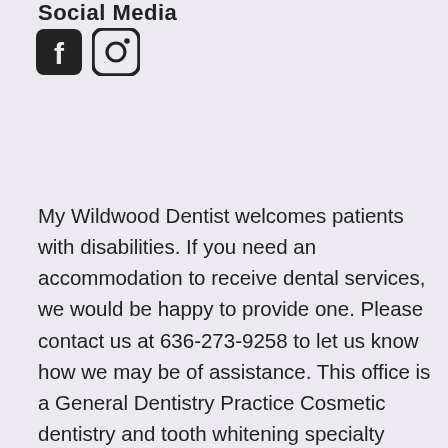Social Media
[Figure (logo): Facebook and Instagram social media icons]
My Wildwood Dentist welcomes patients with disabilities. If you need an accommodation to receive dental services, we would be happy to provide one. Please contact us at 636-273-9258 to let us know how we may be of assistance. This office is a General Dentistry Practice Cosmetic dentistry and tooth whitening specialty areas not recognized by the ADA that require no specific educational training to advertise these services. The above dentists in this practice are not licensed in Missouri as specialists in the advertised dental specialties of Oral Surgery, Prosthodontics, Periodontics, or